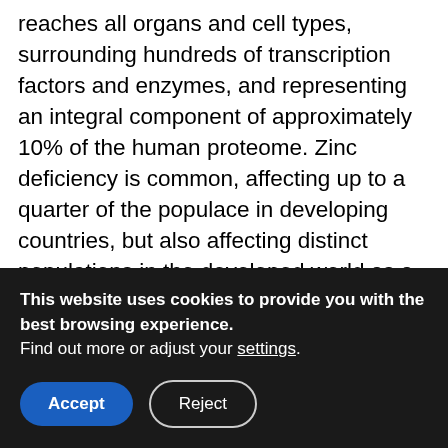reaches all organs and cell types, surrounding hundreds of transcription factors and enzymes, and representing an integral component of approximately 10% of the human proteome. Zinc deficiency is common, affecting up to a quarter of the populace in developing countries, but also affecting distinct populations in the developed world as a result of disease-mediated factors, age, and lifestyle. Consequently, zinc status is a vital element that can affect antiviral immunity as zinc-deficient inhabitants are often most vulnerable to acquiring infections like HIV or hepatitis C virus. This review summarizes
This website uses cookies to provide you with the best browsing experience.
Find out more or adjust your settings.